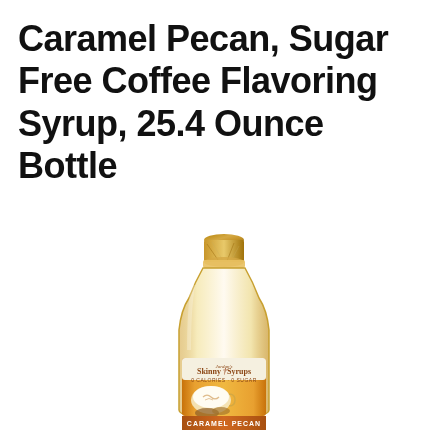Caramel Pecan, Sugar Free Coffee Flavoring Syrup, 25.4 Ounce Bottle
[Figure (photo): A bottle of Jordan's Skinny Syrups Caramel Pecan Sugar Free Coffee Flavoring Syrup, 25.4 oz, with a gold foil cap, clear glass body, and a label featuring a latte and caramel pecan imagery with '0 Calories 0 Sugar' text.]